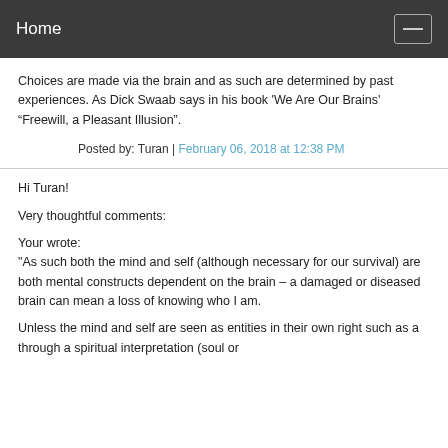Home
Choices are made via the brain and as such are determined by past experiences. As Dick Swaab says in his book 'We Are Our Brains' “Freewill, a Pleasant Illusion”.
Posted by: Turan | February 06, 2018 at 12:38 PM
Hi Turan!
Very thoughtful comments:
Your wrote:
"As such both the mind and self (although necessary for our survival) are both mental constructs dependent on the brain – a damaged or diseased brain can mean a loss of knowing who I am.
Unless the mind and self are seen as entities in their own right such as a through a spiritual interpretation (soul or